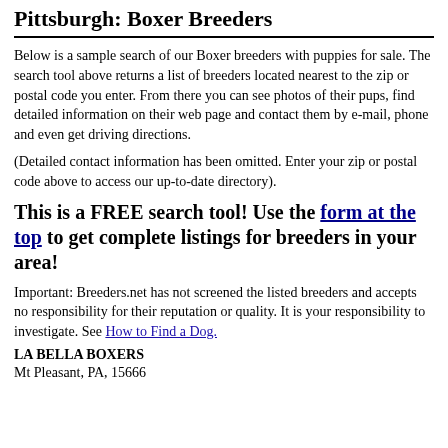Pittsburgh: Boxer Breeders
Below is a sample search of our Boxer breeders with puppies for sale. The search tool above returns a list of breeders located nearest to the zip or postal code you enter. From there you can see photos of their pups, find detailed information on their web page and contact them by e-mail, phone and even get driving directions.
(Detailed contact information has been omitted. Enter your zip or postal code above to access our up-to-date directory).
This is a FREE search tool! Use the form at the top to get complete listings for breeders in your area!
Important: Breeders.net has not screened the listed breeders and accepts no responsibility for their reputation or quality. It is your responsibility to investigate. See How to Find a Dog.
LA BELLA BOXERS
Mt Pleasant, PA, 15666